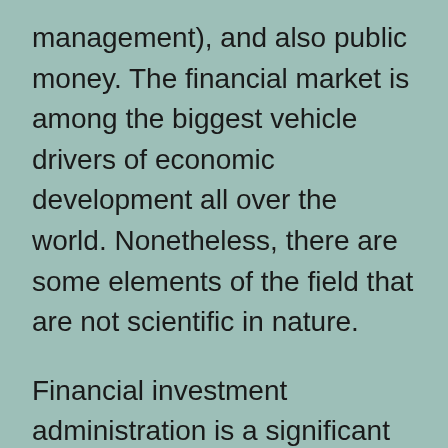management), and also public money. The financial market is among the biggest vehicle drivers of economic development all over the world. Nonetheless, there are some elements of the field that are not scientific in nature.
Financial investment administration is a significant location of emphasis within money. This consists of money management for individuals as well as possession administration for institutions. Various other sub-fields include financial as well as stock broking, along with monetary design as well as danger monitoring. A basic component of